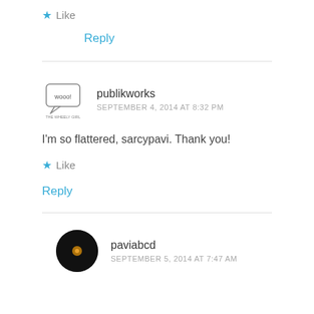★ Like
Reply
publikworks
SEPTEMBER 4, 2014 AT 8:32 PM
I'm so flattered, sarcypavi. Thank you!
★ Like
Reply
paviabcd
SEPTEMBER 5, 2014 AT 7:47 AM